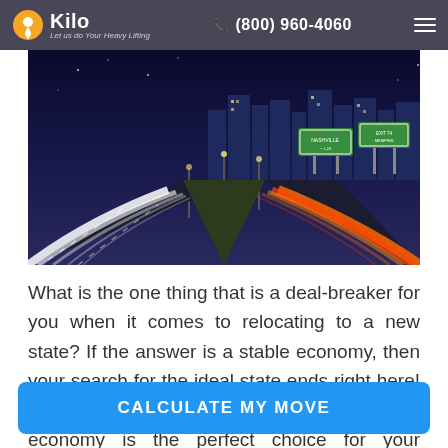Kilo — Let us do Your Heavy Lifting | (800) 960-4060
[Figure (photo): Night-time highway scene with light trails from fast-moving cars, city skyline and green road signs in background]
What is the one thing that is a deal-breaker for you when it comes to relocating to a new state? If the answer is a stable economy, then your search for the ideal state ends right here! Tennessee, being the flagbearer of a booming economy is the perfect choice for your relocation. Plus, if you've been living in Michigan for a while now, you are probably aware of the economic
CALCULATE MY MOVE